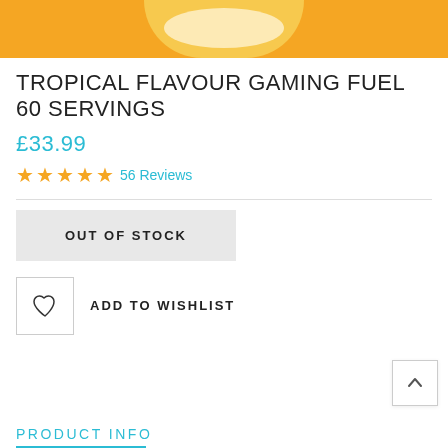[Figure (photo): Product image showing a yellow/orange background with a partial view of a plate with a gaming fuel product]
TROPICAL FLAVOUR GAMING FUEL 60 SERVINGS
£33.99
★★★★★ 56 Reviews
OUT OF STOCK
ADD TO WISHLIST
PRODUCT INFO